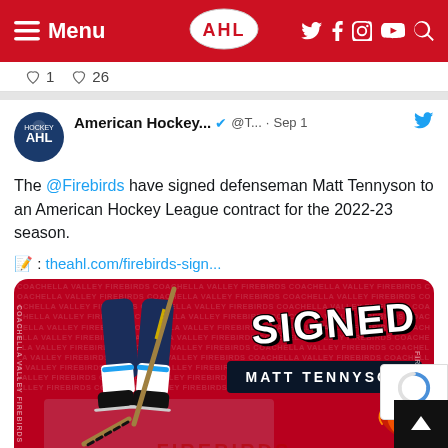Menu | AHL | Social icons
1  26
American Hockey... @T... · Sep 1  The @Firebirds have signed defenseman Matt Tennyson to an American Hockey League contract for the 2022-23 season. 📝: theahl.com/firebirds-sign...
[Figure (photo): Coachella Valley Firebirds signed announcement graphic: hockey player skating on ice, red background with repeating 'COACHELLA VALLEY FIREBIRDS' text, 'SIGNED' in large stylized font, 'MATT TENNYSON' in dark bar, Firebirds phoenix logo]
42